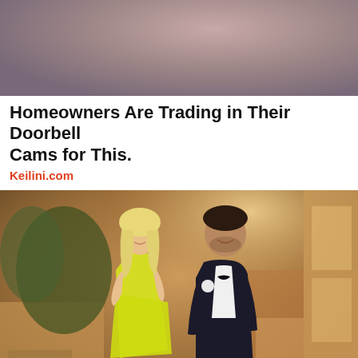[Figure (photo): Close-up photo of a person, partially visible, showing top of head/hat area in muted tones]
Homeowners Are Trading in Their Doorbell Cams for This.
Keilini.com
[Figure (photo): A couple at a formal event. A blonde woman wearing a neon yellow strapless dress stands next to a tall man in a black tuxedo with bow tie and white boutonniere. Background shows a ballroom with tables and other guests.]
The Most Successful Attorneys in Ashburn. See the List.